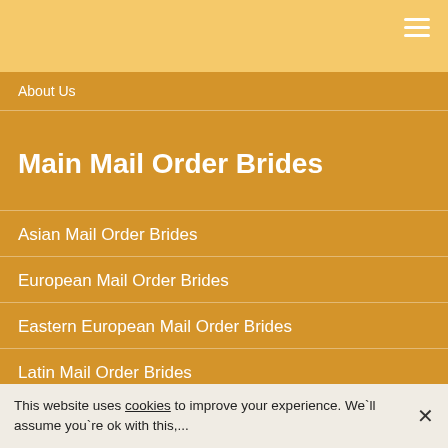About Us
Main Mail Order Brides
Asian Mail Order Brides
European Mail Order Brides
Eastern European Mail Order Brides
Latin Mail Order Brides
American Mail Order Brides
This website uses cookies to improve your experience. We`ll assume you`re ok with this,...